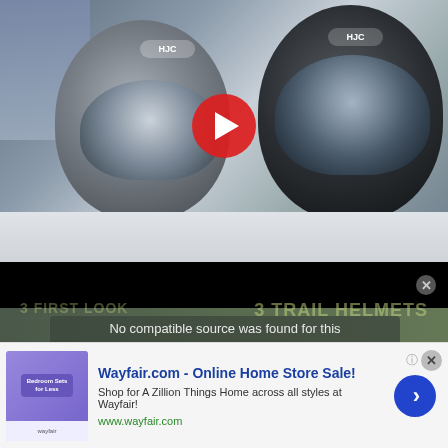[Figure (screenshot): Screenshot of a YouTube-style video showing two HJC motorcycle helmets side by side on a white table, with a person in a blue t-shirt holding the one on the left. A large red YouTube play button overlay is visible in the center. Below the video is a black bar and a partially visible background with a trail helmets graphic. A 'No compatible source was found for this media.' message overlays the lower portion.]
The i-70 is like the small sibling of the HJC R70 ST, and
[Figure (screenshot): Advertisement banner for Wayfair.com showing 'Wayfair.com - Online Home Store Sale!' with subtitle 'Shop for A Zillion Things Home across all styles at Wayfair!' and URL www.wayfair.com, with a small product image on the left and a blue arrow button on the right.]